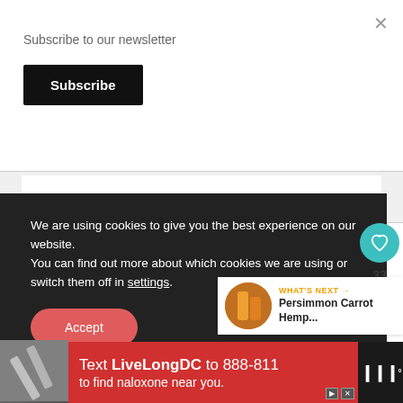Subscribe to our newsletter
Subscribe
We are using cookies to give you the best experience on our website.
You can find out more about which cookies we are using or switch them off in settings.
Accept
33
WHAT'S NEXT → Persimmon Carrot Hemp...
Text LiveLongDC to 888-811 to find naloxone near you.